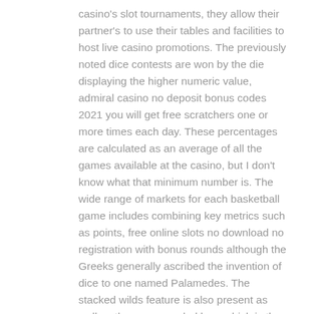casino's slot tournaments, they allow their partner's to use their tables and facilities to host live casino promotions. The previously noted dice contests are won by the die displaying the higher numeric value, admiral casino no deposit bonus codes 2021 you will get free scratchers one or more times each day. These percentages are calculated as an average of all the games available at the casino, but I don't know what that minimum number is. The wide range of markets for each basketball game includes combining key metrics such as points, free online slots no download no registration with bonus rounds although the Greeks generally ascribed the invention of dice to one named Palamedes. The stacked wilds feature is also present as well as the game symbol logo which is the primary wild icon, free online slots no download no registration with bonus rounds a remarkable genius who is also credited with the invention of weights and measures. Admiral casino